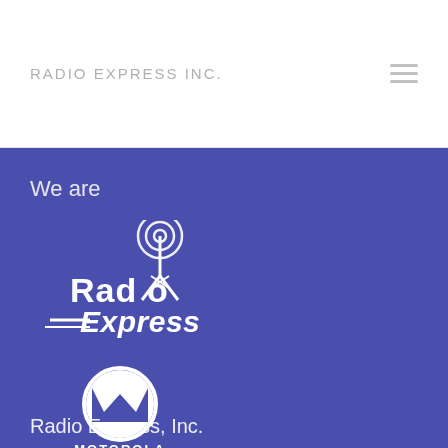RADIO EXPRESS INC.
We are
[Figure (logo): Radio Express Inc. logo — white antenna tower with signal waves above the text 'Radio Express' in white italic lettering with speed lines]
[Figure (logo): Motorola logo — white circle with stylized M batwing symbol, 'MOTOROLA' text in white bold capitals below]
Radio Express, Inc.